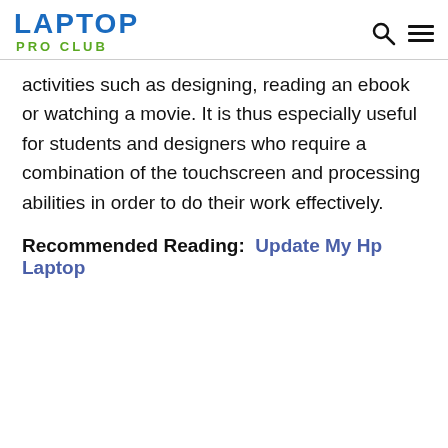LAPTOP PRO CLUB
activities such as designing, reading an ebook or watching a movie. It is thus especially useful for students and designers who require a combination of the touchscreen and processing abilities in order to do their work effectively.
Recommended Reading:  Update My Hp Laptop